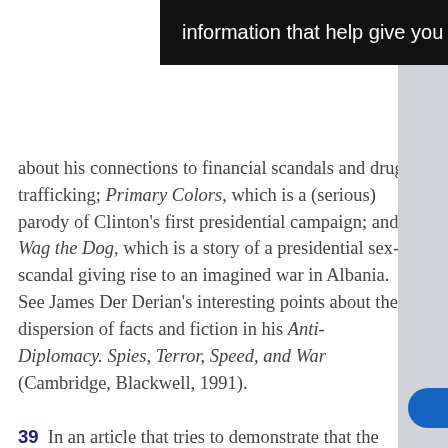[Figure (screenshot): Black cookie/browser notification popup showing text 'information that help give you the very best browsing experience.']
about his connections to financial scandals and drug trafficking; Primary Colors, which is a (serious) parody of Clinton's first presidential campaign; and Wag the Dog, which is a story of a presidential sex-scandal giving rise to an imagined war in Albania. See James Der Derian's interesting points about the dispersion of facts and fiction in his Anti-Diplomacy. Spies, Terror, Speed, and War (Cambridge, Blackwell, 1991).
39  In an article that tries to demonstrate that the American public is 'pretty prudent' and able to discriminate against cynical manipulation of the 'rally round the flag' effect, by econometrically analysing opinion polls over 1949–84, Lian and O'Neal argue nonetheless (p. 294) that 'a favorable response by the general public to a use of force is more